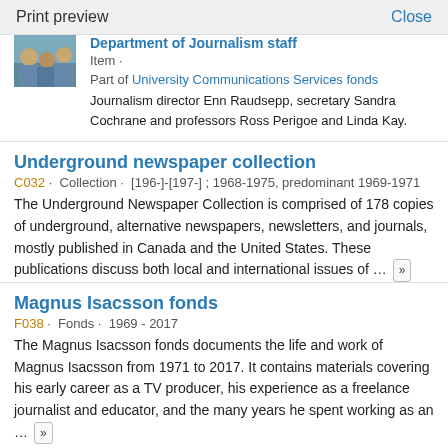Print preview    Close
[Figure (photo): Thumbnail photo of Department of Journalism staff]
Department of Journalism staff
Item ·
Part of University Communications Services fonds
Journalism director Enn Raudsepp, secretary Sandra Cochrane and professors Ross Perigoe and Linda Kay.
Underground newspaper collection
C032 · Collection · [196-]-[197-] ; 1968-1975, predominant 1969-1971
The Underground Newspaper Collection is comprised of 178 copies of underground, alternative newspapers, newsletters, and journals, mostly published in Canada and the United States. These publications discuss both local and international issues of … »
Magnus Isacsson fonds
F038 · Fonds · 1969 - 2017
The Magnus Isacsson fonds documents the life and work of Magnus Isacsson from 1971 to 2017. It contains materials covering his early career as a TV producer, his experience as a freelance journalist and educator, and the many years he spent working as an … »
Isacsson, Magnus